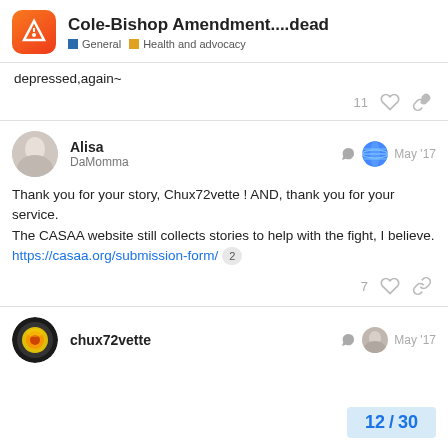Cole-Bishop Amendment....dead | General | Health and advocacy
depressed,again~
11 ♡ 🔗
Alisa DaMomma — May '17
Thank you for your story, Chux72vette ! AND, thank you for your service.
The CASAA website still collects stories to help with the fight, I believe.
https://casaa.org/submission-form/ 2
7 ♡ 🔗
chux72vette — May '17
12 / 30